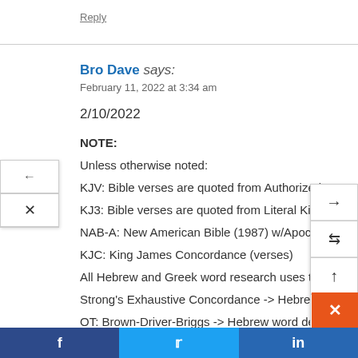Reply
Bro Dave says:
February 11, 2022 at 3:34 am
2/10/2022
NOTE:
Unless otherwise noted:
KJV: Bible verses are quoted from Authorized K
KJ3: Bible verses are quoted from Literal King J
NAB-A: New American Bible (1987) w/Apocry
KJC: King James Concordance (verses)
All Hebrew and Greek word research uses the followin
Strong's Exhaustive Concordance -> Hebrew word def
OT: Brown-Driver-Briggs -> Hebrew word defin
f  t  in